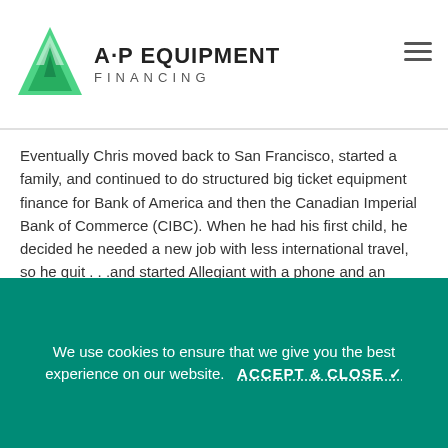[Figure (logo): A·P Equipment Financing logo with green triangle/arrow icon and bold text]
Eventually Chris moved back to San Francisco, started a family, and continued to do structured big ticket equipment finance for Bank of America and then the Canadian Imperial Bank of Commerce (CIBC). When he had his first child, he decided he needed a new job with less international travel, so he quit . . .and started Allegiant with a phone and an office! Chris now has three kids and they love mountain biking, hiking, skiing, and spending summers in the Pacific Northwest where they have a family home.
Chris loves the company and culture we have created at AP Equipment Financing and is proud how it has grown from a one...
We use cookies to ensure that we give you the best experience on our website.   ACCEPT & CLOSE ✓